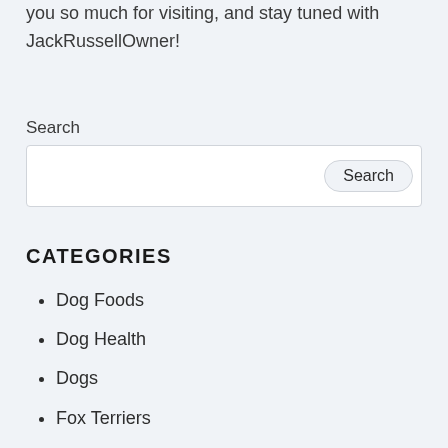you so much for visiting, and stay tuned with JackRussellOwner!
Search
Search box
CATEGORIES
Dog Foods
Dog Health
Dogs
Fox Terriers
Jack Russell Terriers